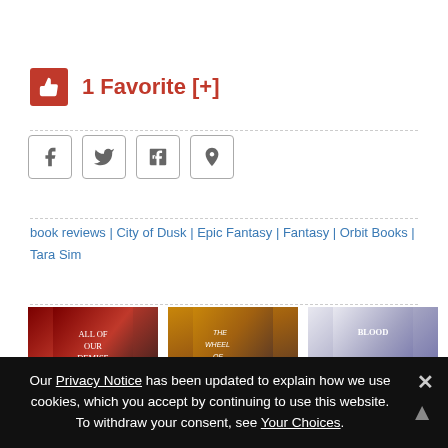1 Favorite [+]
[Figure (other): Social share buttons: Facebook, Twitter, Tumblr, Pinterest]
book reviews | City of Dusk | Epic Fantasy | Fantasy | Orbit Books | Tara Sim
[Figure (other): Book cover: All of Our Demise]
[Figure (other): Book cover: The Wheel of Time]
[Figure (other): Book cover: Blood Debts]
Read an Excerpt From All of Our
Perrin and Rand Are Both
Read an Excerpt From Blood
Our Privacy Notice has been updated to explain how we use cookies, which you accept by continuing to use this website. To withdraw your consent, see Your Choices.